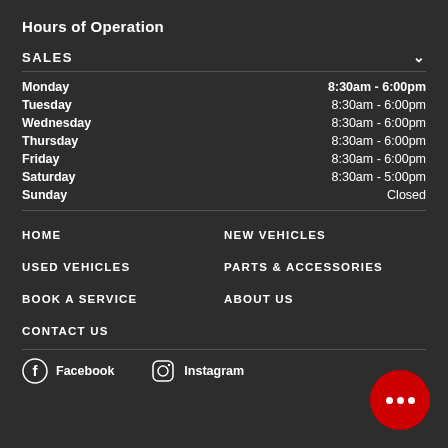Hours of Operation
SALES
| Day | Hours |
| --- | --- |
| Monday | 8:30am - 6:00pm |
| Tuesday | 8:30am - 6:00pm |
| Wednesday | 8:30am - 6:00pm |
| Thursday | 8:30am - 6:00pm |
| Friday | 8:30am - 6:00pm |
| Saturday | 8:30am - 5:00pm |
| Sunday | Closed |
HOME
NEW VEHICLES
USED VEHICLES
PARTS & ACCESSORIES
BOOK A SERVICE
ABOUT US
CONTACT US
Facebook
Instagram